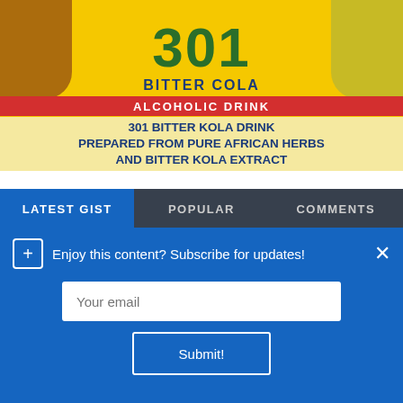[Figure (photo): Advertisement banner for '301 Bitter Cola Alcoholic Drink' with yellow background, large green number 301, blue text 'BITTER COLA', red band with white text 'ALCOHOLIC DRINK', kola nuts image on left, green herbs on right]
301 BITTER KOLA DRINK PREPARED FROM PURE AFRICAN HERBS AND BITTER KOLA EXTRACT
LATEST GIST | POPULAR | COMMENTS
[Figure (photo): Thumbnail image for Dead Zone (2022) article showing dark action scene]
Dead Zone (2022)
TUNECHI  Aug 30, 2022
Enjoy this content? Subscribe for updates!
Your email
Submit!